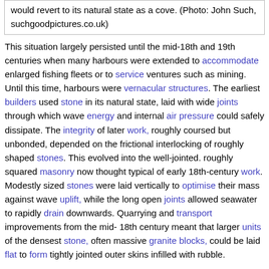would revert to its natural state as a cove. (Photo: John Such, suchgoodpictures.co.uk)
This situation largely persisted until the mid-18th and 19th centuries when many harbours were extended to accommodate enlarged fishing fleets or to service ventures such as mining. Until this time, harbours were vernacular structures. The earliest builders used stone in its natural state, laid with wide joints through which wave energy and internal air pressure could safely dissipate. The integrity of later work, roughly coursed but unbonded, depended on the frictional interlocking of roughly shaped stones. This evolved into the well-jointed. roughly squared masonry now thought typical of early 18th-century work. Modestly sized stones were laid vertically to optimise their mass against wave uplift, while the long open joints allowed seawater to rapidly drain downwards. Quarrying and transport improvements from the mid- 18th century meant that larger units of the densest stone, often massive granite blocks, could be laid flat to form tightly jointed outer skins infilled with rubble.
These structures were still highly permeable, allowing the tide to rise through the loose hearting, pushing air outwards through interstices,